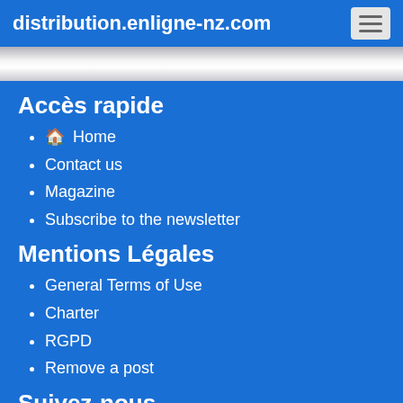distribution.enligne-nz.com
Accès rapide
Home
Contact us
Magazine
Subscribe to the newsletter
Mentions Légales
General Terms of Use
Charter
RGPD
Remove a post
Suivez-nous
J'aime  Partager